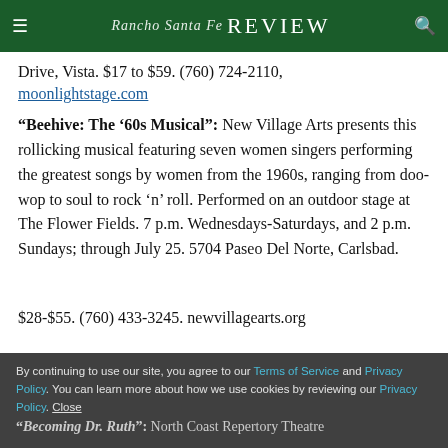≡  Rancho Santa Fe REVIEW  🔍
Drive, Vista. $17 to $59. (760) 724-2110, moonlightstage.com
“Beehive: The ’60s Musical”: New Village Arts presents this rollicking musical featuring seven women singers performing the greatest songs by women from the 1960s, ranging from doo-wop to soul to rock ‘n’ roll. Performed on an outdoor stage at The Flower Fields. 7 p.m. Wednesdays-Saturdays, and 2 p.m. Sundays; through July 25. 5704 Paseo Del Norte, Carlsbad. $28-$55. (760) 433-3245. newvillagearts.org
“Becoming Dr. Ruth”: North Coast Repertory Theatre
By continuing to use our site, you agree to our Terms of Service and Privacy Policy. You can learn more about how we use cookies by reviewing our Privacy Policy. Close